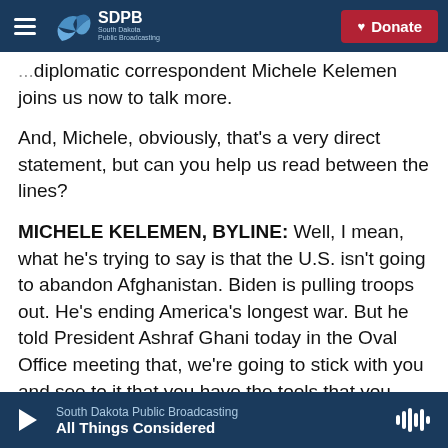SDPB South Dakota Public Broadcasting | Donate
...diplomatic correspondent Michele Kelemen joins us now to talk more.
And, Michele, obviously, that's a very direct statement, but can you help us read between the lines?
MICHELE KELEMEN, BYLINE: Well, I mean, what he's trying to say is that the U.S. isn't going to abandon Afghanistan. Biden is pulling troops out. He's ending America's longest war. But he told President Ashraf Ghani today in the Oval Office meeting that, we're going to stick with you and see to it that you have the tools that you need.
South Dakota Public Broadcasting | All Things Considered